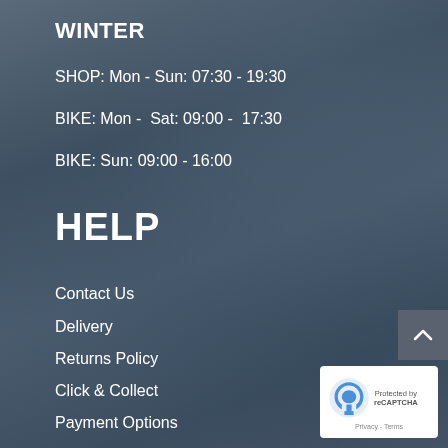WINTER
SHOP: Mon - Sun: 07:30 - 19:30
BIKE: Mon -  Sat: 09:00 -  17:30
BIKE: Sun: 09:00 - 16:00
HELP
Contact Us
Delivery
Returns Policy
Click & Collect
Payment Options
FAQs